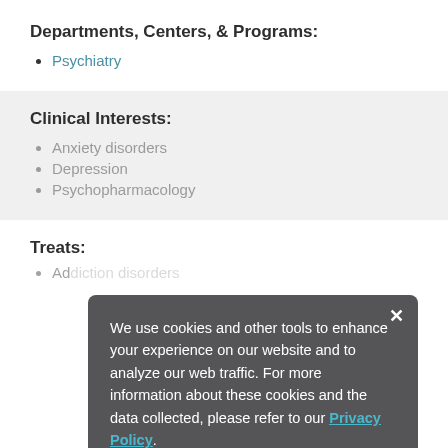Departments, Centers, & Programs:
Psychiatry
Clinical Interests:
Anxiety disorders
Depression
Psychopharmacology
Treats:
Addiction disorders
We use cookies and other tools to enhance your experience on our website and to analyze our web traffic. For more information about these cookies and the data collected, please refer to our Privacy Policy.